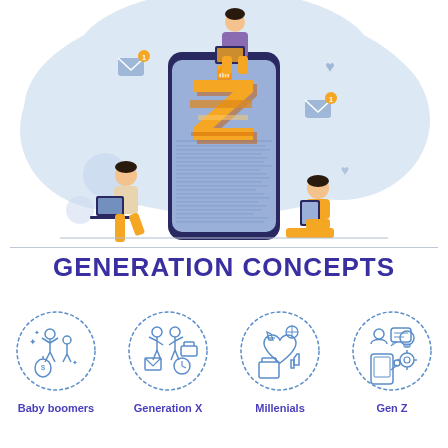[Figure (illustration): Colorful flat illustration showing three young people using digital devices (laptop, tablet) around a large smartphone displaying a glowing orange letter Z. Blue cloud-like background with social media icons (email, wifi, heart). Generation Z digital natives concept art.]
GENERATION CONCEPTS
[Figure (illustration): Circle icon for Baby boomers: outline drawing of people, money bag, sparkles on blue/white circle]
[Figure (illustration): Circle icon for Generation X: outline drawing of two people, envelope, clock, briefcase on blue/white circle]
[Figure (illustration): Circle icon for Millenials: outline drawing of travel items, heart, thumbs up, luggage on blue/white circle]
[Figure (illustration): Circle icon for Gen Z: outline drawing of smartphone, lightbulb, profile, gear on blue/white circle]
Baby boomers
Generation X
Millenials
Gen Z